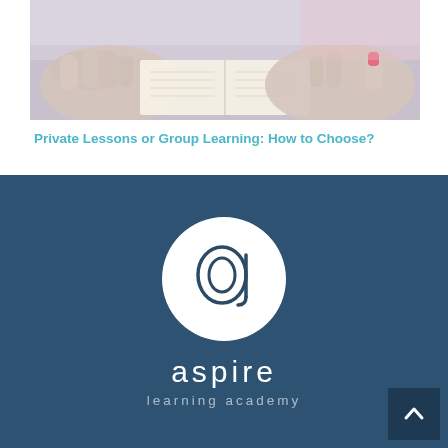[Figure (photo): Close-up photo of hands holding open a book, with pink fingernails visible, educational/study theme]
Private Lessons or Group Learning: How to Choose?
[Figure (logo): Aspire Learning Academy logo: white circle with stylized lowercase 'a', text 'aspire' and 'learning academy' on dark blue background]
[Figure (other): Scroll-to-top button with chevron/caret icon in dark navy square, bottom right corner]